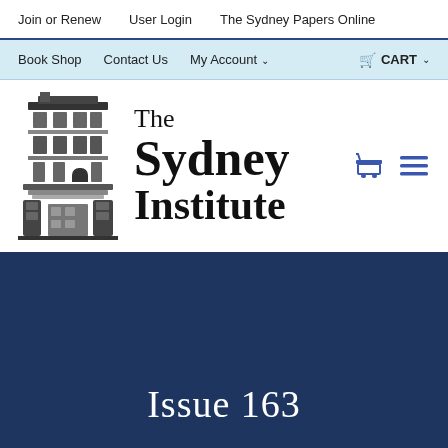Join or Renew   User Login   The Sydney Papers Online
Book Shop   Contact Us   My Account   CART
[Figure (logo): The Sydney Institute logo with building illustration and text 'The Sydney Institute']
Issue 163